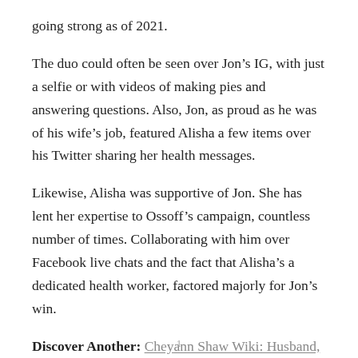going strong as of 2021.
The duo could often be seen over Jon’s IG, with just a selfie or with videos of making pies and answering questions. Also, Jon, as proud as he was of his wife’s job, featured Alisha a few items over his Twitter sharing her health messages.
Likewise, Alisha was supportive of Jon. She has lent her expertise to Ossoff’s campaign, countless number of times. Collaborating with him over Facebook live chats and the fact that Alisha’s a dedicated health worker, factored majorly for Jon’s win.
Discover Another: Cheyann Shaw Wiki: Husband, Kids, Parents, Siblings
1